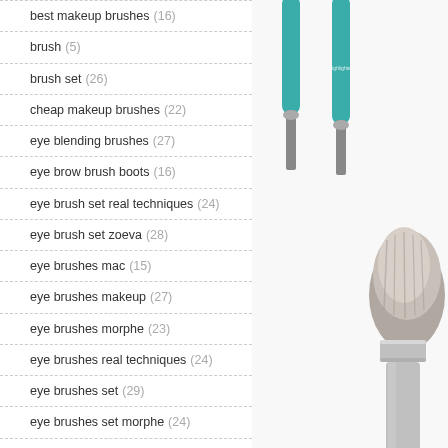best makeup brushes (16)
brush (5)
brush set (26)
cheap makeup brushes (22)
eye blending brushes (27)
eye brow brush boots (16)
eye brush set real techniques (24)
eye brush set zoeva (28)
eye brushes mac (15)
eye brushes makeup (27)
eye brushes morphe (23)
eye brushes real techniques (24)
eye brushes set (29)
eye brushes set morphe (24)
eyebrow brush (29)
eyebrow brush set (34)
[Figure (photo): Makeup brushes with teal/green handles on the top portion and a large powder brush with silver handle and grey bristles on the lower-right portion, on white background]